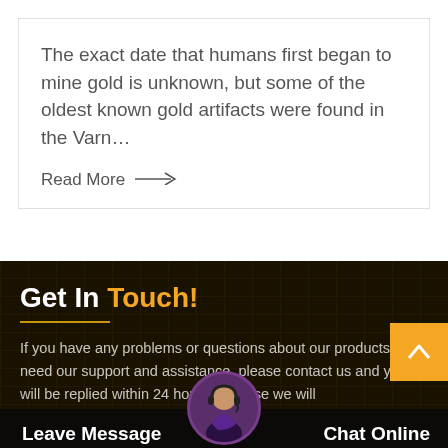The exact date that humans first began to mine gold is unknown, but some of the oldest known gold artifacts were found in the Varn…
Read More →
Get In Touch!
If you have any problems or questions about our products or need our support and assistance, please contact us and you will be replied within 24 hours. promise we will
Leave Message
Chat Online